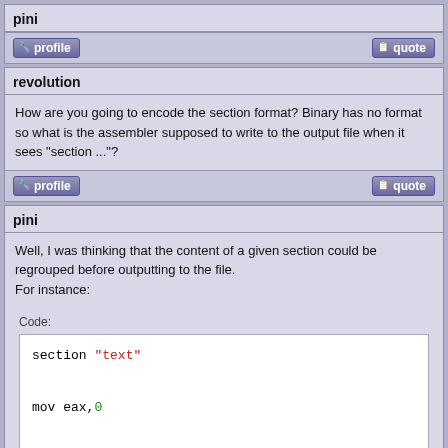pini
profile | quote (buttons)
revolution
How are you going to encode the section format? Binary has no format so what is the assembler supposed to write to the output file when it sees "section ..."?
profile | quote (buttons)
pini
Well, I was thinking that the content of a given section could be regrouped before outputting to the file.
For instance:
Code:
section "text"

mov eax,0

section "data"

dd 0xAA

section "text"